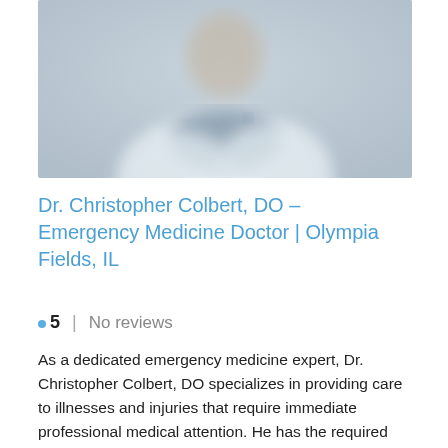[Figure (photo): Blurred photo of a doctor in a white coat, upper body visible, standing against a light grey background]
Dr. Christopher Colbert, DO – Emergency Medicine Doctor | Olympia Fields, IL
.5 | No reviews
As a dedicated emergency medicine expert, Dr. Christopher Colbert, DO specializes in providing care to illnesses and injuries that require immediate professional medical attention. He has the required training, skills, background, and experience to provide emergency, unscheduled care for patients [...]